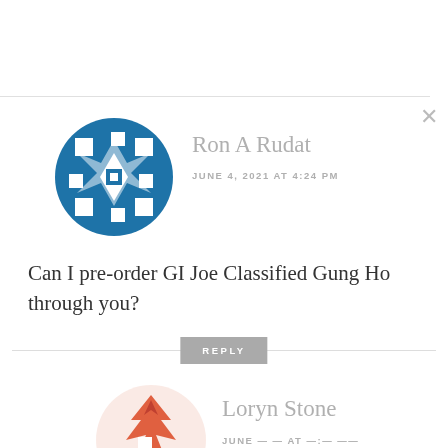[Figure (illustration): Blue geometric/quilt pattern avatar for Ron A Rudat]
Ron A Rudat
JUNE 4, 2021 AT 4:24 PM
Can I pre-order GI Joe Classified Gung Ho through you?
REPLY
[Figure (illustration): Red/orange geometric avatar for Loryn Stone]
Loryn Stone